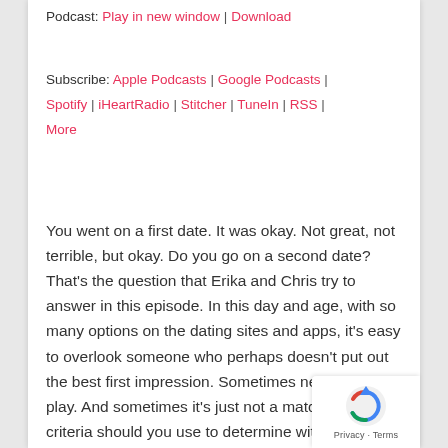Podcast: Play in new window | Download
Subscribe: Apple Podcasts | Google Podcasts | Spotify | iHeartRadio | Stitcher | TuneIn | RSS | More
You went on a first date. It was okay. Not great, not terrible, but okay. Do you go on a second date? That's the question that Erika and Chris try to answer in this episode. In this day and age, with so many options on the dating sites and apps, it's easy to overlook someone who perhaps doesn't put out the best first impression. Sometimes nerves are at play. And sometimes it's just not a match. What criteria should you use to determine wither a second or third date is worth it? Listen to find out.
[Figure (other): reCAPTCHA privacy badge overlay in bottom-right corner]